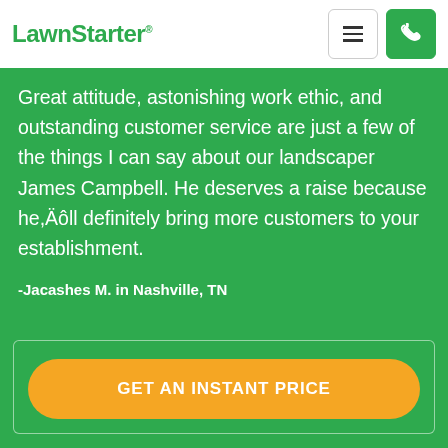LawnStarter
Great attitude, astonishing work ethic, and outstanding customer service are just a few of the things I can say about our landscaper James Campbell. He deserves a raise because he,Äôll definitely bring more customers to your establishment.
-Jacashes M. in Nashville, TN
GET AN INSTANT PRICE